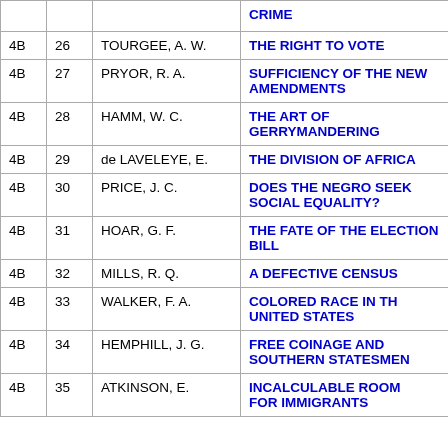|  |  |  |  |
| --- | --- | --- | --- |
|  |  |  | CRIME |
| 4B | 26 | TOURGEE, A. W. | THE RIGHT TO VOTE |
| 4B | 27 | PRYOR, R. A. | SUFFICIENCY OF THE NEW AMENDMENTS |
| 4B | 28 | HAMM, W. C. | THE ART OF GERRYMANDERING |
| 4B | 29 | de LAVELEYE, E. | THE DIVISION OF AFRICA |
| 4B | 30 | PRICE, J. C. | DOES THE NEGRO SEEK SOCIAL EQUALITY? |
| 4B | 31 | HOAR, G. F. | THE FATE OF THE ELECTION BILL |
| 4B | 32 | MILLS, R. Q. | A DEFECTIVE CENSUS |
| 4B | 33 | WALKER, F. A. | COLORED RACE IN THE UNITED STATES |
| 4B | 34 | HEMPHILL, J. G. | FREE COINAGE AND SOUTHERN STATESMEN |
| 4B | 35 | ATKINSON, E. | INCALCULABLE ROOM FOR IMMIGRANTS |